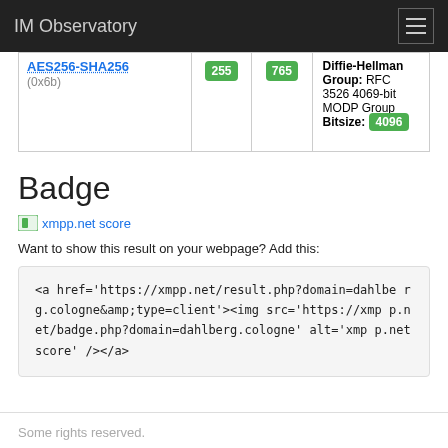IM Observatory
| Cipher |  |  | Diffie-Hellman |
| --- | --- | --- | --- |
| AES256-SHA256 (0x6b) | 255 | 765 | Diffie-Hellman Group: RFC 3526 4069-bit MODP Group Bitsize: 4096 |
Badge
xmpp.net score
Want to show this result on your webpage? Add this:
<a href='https://xmpp.net/result.php?domain=dahlberg.cologne&amp;type=client'><img src='https://xmpp.net/badge.php?domain=dahlberg.cologne' alt='xmpp.net score' /></a>
Some rights reserved.